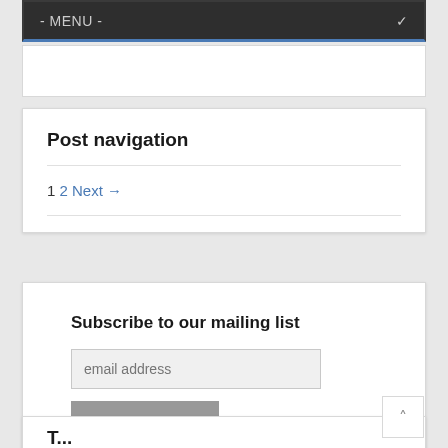- MENU -
Post navigation
1 2 Next →
Subscribe to our mailing list
email address
Subscribe
T...